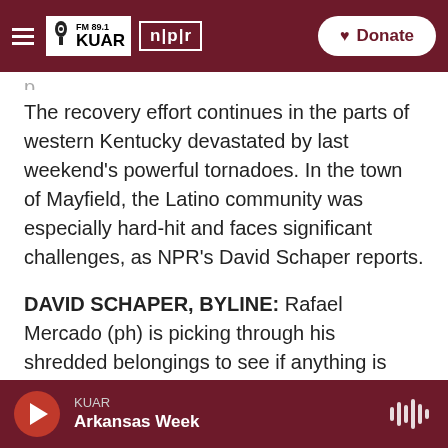FM 89.1 KUAR | npr | Donate
The recovery effort continues in the parts of western Kentucky devastated by last weekend's powerful tornadoes. In the town of Mayfield, the Latino community was especially hard-hit and faces significant challenges, as NPR's David Schaper reports.
DAVID SCHAPER, BYLINE: Rafael Mercado (ph) is picking through his shredded belongings to see if anything is salvageable. The 28-year-old is glad he wasn't home when the ferocious tornado ripped apart his and every other house around him.
KUAR
Arkansas Week